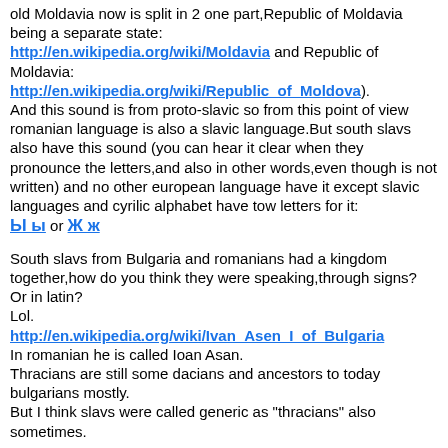old Moldavia now is split in 2 one part,Republic of Moldavia being a separate state: http://en.wikipedia.org/wiki/Moldavia and Republic of Moldavia: http://en.wikipedia.org/wiki/Republic_of_Moldova). And this sound is from proto-slavic so from this point of view romanian language is also a slavic language.But south slavs also have this sound (you can hear it clear when they pronounce the letters,and also in other words,even though is not written) and no other european language have it except slavic languages and cyrilic alphabet have tow letters for it: Ы ы or Ж ж
South slavs from Bulgaria and romanians had a kingdom together,how do you think they were speaking,through signs? Or in latin? Lol. http://en.wikipedia.org/wiki/Ivan_Asen_I_of_Bulgaria In romanian he is called Ioan Asan. Thracians are still some dacians and ancestors to today bulgarians mostly. But I think slavs were called generic as "thracians" also sometimes.